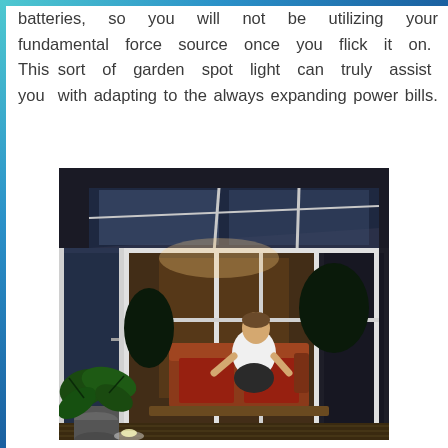batteries, so you will not be utilizing your fundamental force source once you flick it on. This sort of garden spot light can truly assist you with adapting to the always expanding power bills.
[Figure (photo): A person sitting in a well-lit conservatory or sunroom with glass roof and walls, viewed from outside at night. A large leafy plant is visible in the foreground on a wooden deck. The interior shows warm lighting, wooden furniture, and the person seated on a sofa.]